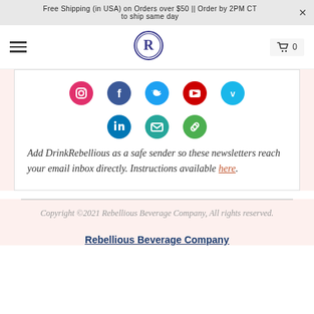Free Shipping (in USA) on Orders over $50 || Order by 2PM CT to ship same day
[Figure (logo): Rebellious Beverage Company logo - letter R in a circle with double border]
[Figure (infographic): Social media icons in colored circles: Instagram (pink), Facebook (dark blue), Twitter (light blue), YouTube (red), Vimeo (teal), LinkedIn (blue), Email (teal), Link (green)]
Add DrinkRebellious as a safe sender so these newsletters reach your email inbox directly. Instructions available here.
Copyright ©2021 Rebellious Beverage Company, All rights reserved.
Rebellious Beverage Company